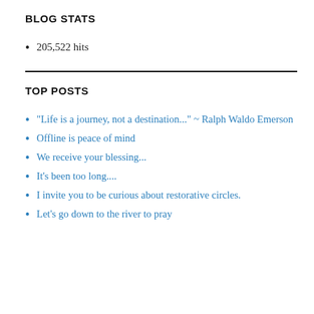BLOG STATS
205,522 hits
TOP POSTS
"Life is a journey, not a destination..." ~ Ralph Waldo Emerson
Offline is peace of mind
We receive your blessing...
It's been too long....
I invite you to be curious about restorative circles.
Let's go down to the river to pray